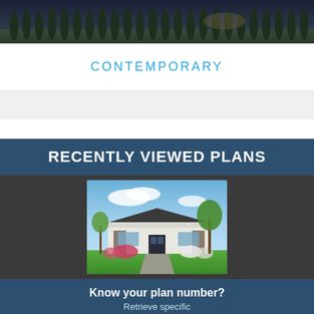[Figure (photo): Aerial or landscape photo of a neighborhood at dusk with trees lined along the top]
CONTEMPORARY
RECENTLY VIEWED PLANS
[Figure (photo): Rendering of a contemporary single-story house plan with stone accents, dark roof, and landscaping]
Know your plan number? Retrieve specific